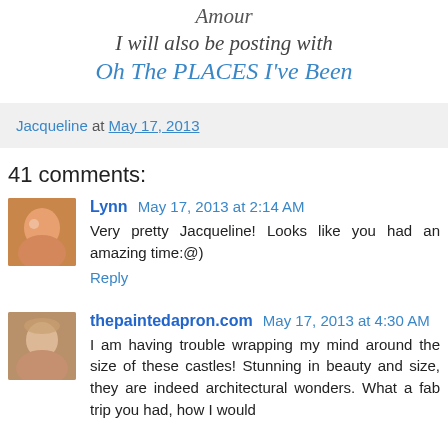Amour
I will also be posting with
Oh The PLACES I've Been
Jacqueline at May 17, 2013
41 comments:
Lynn May 17, 2013 at 2:14 AM
Very pretty Jacqueline! Looks like you had an amazing time:@)
Reply
thepaintedapron.com May 17, 2013 at 4:30 AM
I am having trouble wrapping my mind around the size of these castles! Stunning in beauty and size, they are indeed architectural wonders. What a fab trip you had, how I would